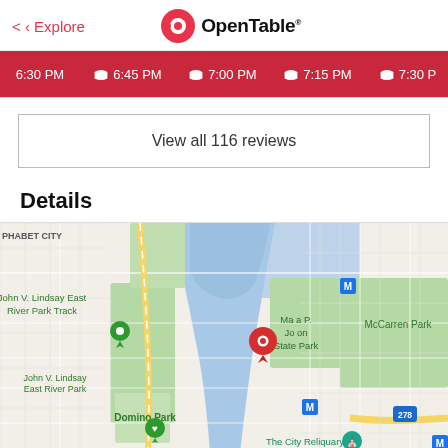< Explore | OpenTable
6:30 PM | 6:45 PM | 7:00 PM | 7:15 PM | 7:30 PM
View all 116 reviews
Details
[Figure (map): Google Maps showing the area around Williamsburg and East Village NYC, including John V. Lindsay East River Park Track, John V. Lindsay East River Park, Marsha P. Johnson State Park (with red pin), McCarren Park, Domino Park, The City Reliquary, with subway markers and highway I-278.]